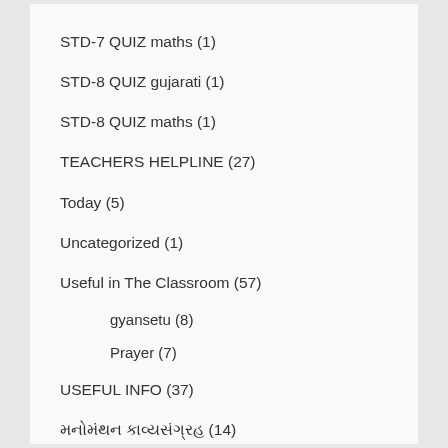STD-7 QUIZ maths (1)
STD-8 QUIZ gujarati (1)
STD-8 QUIZ maths (1)
TEACHERS HELPLINE (27)
Today (5)
Uncategorized (1)
Useful in The Classroom (57)
gyansetu (8)
Prayer (7)
USEFUL INFO (37)
મનોમંથન કાવ્યસંગ્રહ (14)